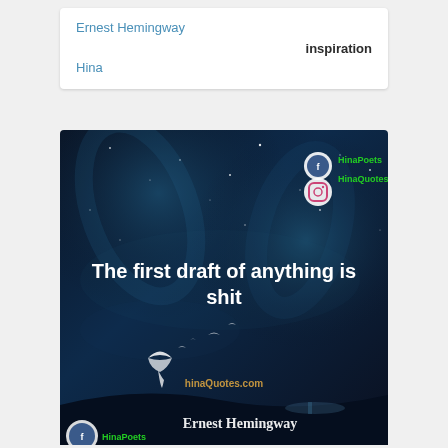Ernest Hemingway
inspiration
Hina
[Figure (photo): Dark night sky background with quote 'The first draft of anything is shit' attributed to Ernest Hemingway, with HinaPoets and HinaQuotes branding logos, hinaQuotes.com watermark, and birds silhouetted against a blue glowing sky.]